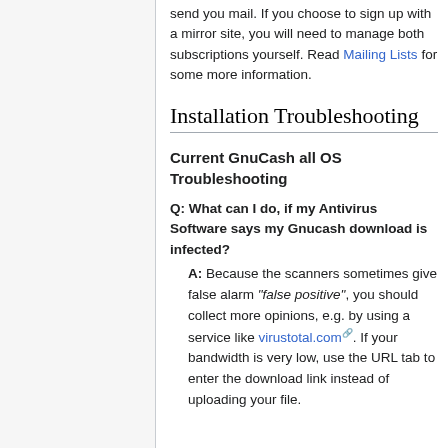send you mail. If you choose to sign up with a mirror site, you will need to manage both subscriptions yourself. Read Mailing Lists for some more information.
Installation Troubleshooting
Current GnuCash all OS Troubleshooting
Q: What can I do, if my Antivirus Software says my Gnucash download is infected?
A: Because the scanners sometimes give false alarm "false positive", you should collect more opinions, e.g. by using a service like virustotal.com. If your bandwidth is very low, use the URL tab to enter the download link instead of uploading your file.